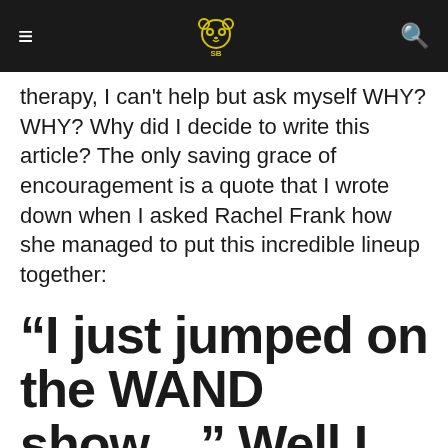≡  [panda logo]  🔍
therapy, I can't help but ask myself WHY? WHY? Why did I decide to write this article? The only saving grace of encouragement is a quote that I wrote down when I asked Rachel Frank how she managed to put this incredible lineup together:
“I just jumped on the WAND show…” Well I hope for this poor boy that the WAND is